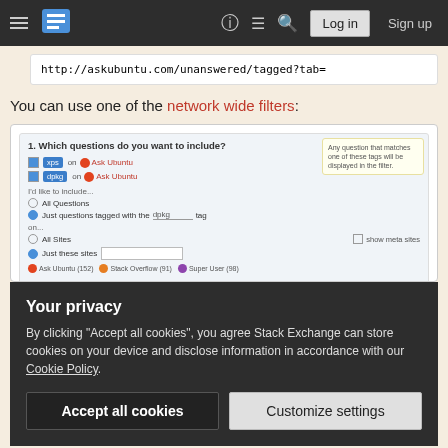Stack Exchange navigation bar with hamburger menu, logo, help, chat, search icons, Log in and Sign up buttons
http://askubuntu.com/unanswered/tagged?tab=
You can use one of the network wide filters:
[Figure (screenshot): Screenshot of Stack Exchange network filter interface showing checkboxes for tags (xps, dpkg) on Ask Ubuntu, options to include All Questions or Just questions tagged with a text field, All Sites or Just these sites with checkboxes, and a yellow note box saying 'Any question that matches one of these tags will be displayed in the filter.']
Your privacy
By clicking "Accept all cookies", you agree Stack Exchange can store cookies on your device and disclose information in accordance with our Cookie Policy.
Accept all cookies
Customize settings